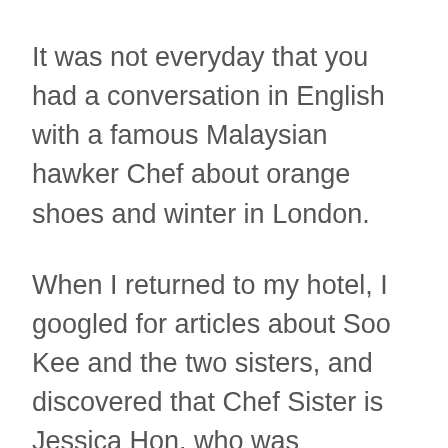It was not everyday that you had a conversation in English with a famous Malaysian hawker Chef about orange shoes and winter in London.
When I returned to my hotel, I googled for articles about Soo Kee and the two sisters, and discovered that Chef Sister is Jessica Hon, who was educated in London. Her sister, the manager is Jasmine Hon.
As I stumbled out of Soo Kee still in shock, I decided that providence has spoken, this was